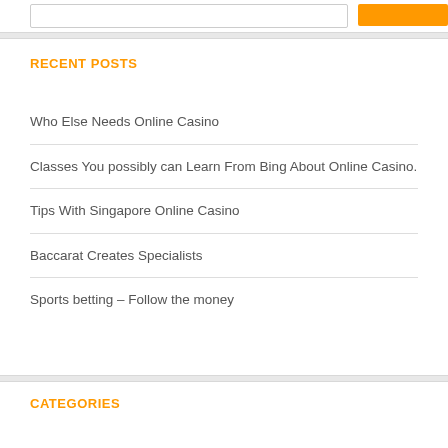RECENT POSTS
Who Else Needs Online Casino
Classes You possibly can Learn From Bing About Online Casino.
Tips With Singapore Online Casino
Baccarat Creates Specialists
Sports betting – Follow the money
CATEGORIES